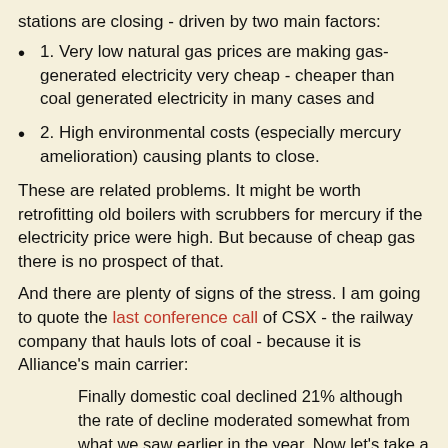stations are closing - driven by two main factors:
1. Very low natural gas prices are making gas-generated electricity very cheap - cheaper than coal generated electricity in many cases and
2. High environmental costs (especially mercury amelioration) causing plants to close.
These are related problems. It might be worth retrofitting old boilers with scrubbers for mercury if the electricity price were high. But because of cheap gas there is no prospect of that.
And there are plenty of signs of the stress. I am going to quote the last conference call of CSX - the railway company that hauls lots of coal - because it is Alliance's main carrier:
Finally domestic coal declined 21% although the rate of decline moderated somewhat from what we saw earlier in the year. Now let's take a closer look at some of the individual markets in more detail and let's start with coal. Coal revenue declined 13% to $747 million. Domestic...